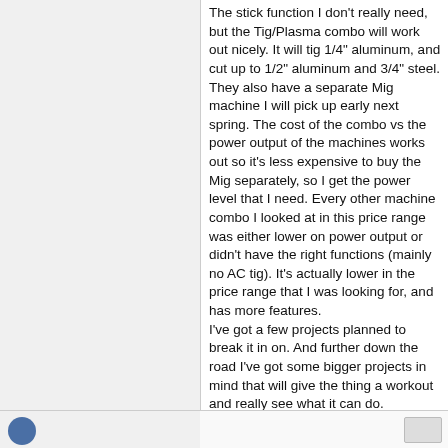The stick function I don't really need, but the Tig/Plasma combo will work out nicely. It will tig 1/4" aluminum, and cut up to 1/2" aluminum and 3/4" steel.
They also have a separate Mig machine I will pick up early next spring. The cost of the combo vs the power output of the machines works out so it's less expensive to buy the Mig separately, so I get the power level that I need. Every other machine combo I looked at in this price range was either lower on power output or didn't have the right functions (mainly no AC tig). It's actually lower in the price range that I was looking for, and has more features.
I've got a few projects planned to break it in on. And further down the road I've got some bigger projects in mind that will give the thing a workout and really see what it can do.
I'll put up some pics of stuff after I get it all set up and have a chance to put it to work.